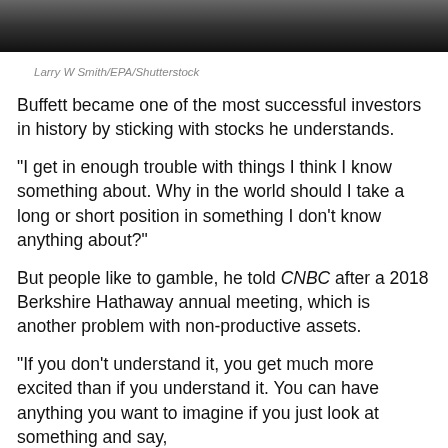[Figure (photo): Partial photo of Warren Buffett in a suit and tie, cropped at the top of the page]
Larry W Smith/EPA/Shutterstock
Buffett became one of the most successful investors in history by sticking with stocks he understands.
“I get in enough trouble with things I think I know something about. Why in the world should I take a long or short position in something I don’t know anything about?”
But people like to gamble, he told CNBC after a 2018 Berkshire Hathaway annual meeting, which is another problem with non-productive assets.
“If you don’t understand it, you get much more excited than if you understand it. You can have anything you want to imagine if you just look at something and say,